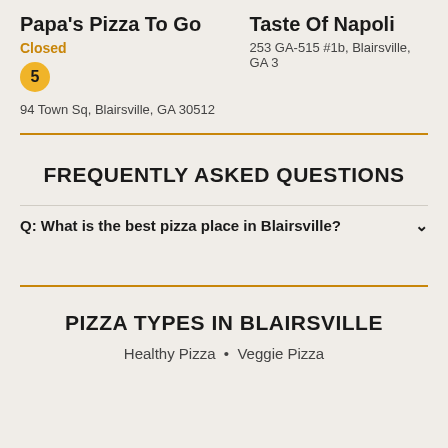Papa's Pizza To Go
Closed
5
94 Town Sq, Blairsville, GA 30512
Taste Of Napoli
253 GA-515 #1b, Blairsville, GA 3
FREQUENTLY ASKED QUESTIONS
Q: What is the best pizza place in Blairsville?
PIZZA TYPES IN BLAIRSVILLE
Healthy Pizza  •  Veggie Pizza